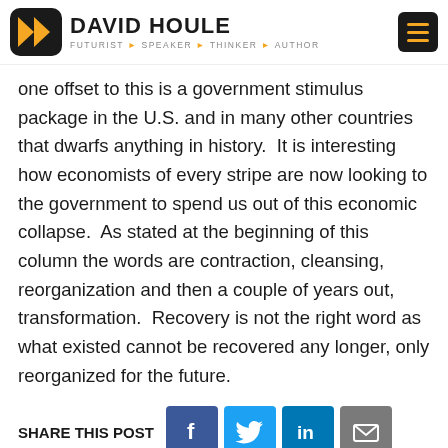DAVID HOULE — FUTURIST > SPEAKER > THINKER > AUTHOR
one offset to this is a government stimulus package in the U.S. and in many other countries that dwarfs anything in history.  It is interesting how economists of every stripe are now looking to the government to spend us out of this economic collapse.  As stated at the beginning of this column the words are contraction, cleansing, reorganization and then a couple of years out, transformation.  Recovery is not the right word as what existed cannot be recovered any longer, only reorganized for the future.
SHARE THIS POST